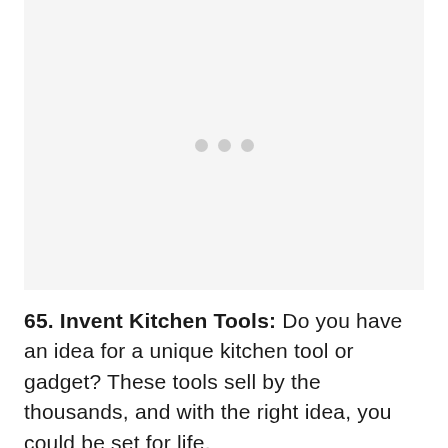[Figure (other): Image placeholder with three grey dots indicating loading or missing image content]
65. Invent Kitchen Tools: Do you have an idea for a unique kitchen tool or gadget? These tools sell by the thousands, and with the right idea, you could be set for life.